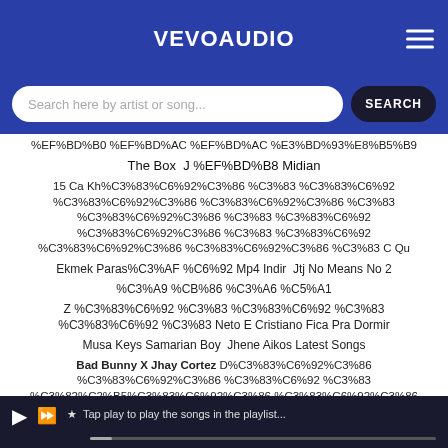VEVOAUDIO
Search here by artist or song...
%EF%BD%B0 %EF%BD%AC %EF%BD%AC %E3%BD%93%E8%B5%B9
The Box  J %EF%BD%B8 Midian
15 Ca Kh%C3%83%C6%92%C3%86 %C3%83 %C3%83%C6%92 %C3%83%C6%92%C3%86 %C3%83%C6%92%C3%86 %C3%83 %C3%83%C6%92%C3%86 %C3%83 %C3%83%C6%92 %C3%83%C6%92%C3%86 %C3%83 %C3%83%C6%92 %C3%83%C6%92%C3%86 %C3%83%C6%92%C3%86 %C3%83 C Qu
Ekmek Paras%C3%AF %C6%92 Mp4 Indir  Jtj No Means No 2
%C3%A9 %CB%86 %C3%A6 %C5%A1
Z %C3%83%C6%92 %C3%83 %C3%83%C6%92 %C3%83 %C3%83%C6%92 %C3%83 Neto E Cristiano Fica Pra Dormir
Musa Keys Samarian Boy  Jhene Aikos Latest Songs
Bad Bunny X Jhay Cortez D%C3%83%C6%92%C3%86 %C3%83%C6%92%C3%86 %C3%83%C6%92 %C3%83 %C3%82%C2%B5%C3%83%C6%92%C3%86 %C3%83%C6%92%C3%86 Kiti Video Oficial
Se For Amor Jo%EF%BE%83%EF%BD%AF %EF%BE%86 %EF%BE%83%EF%BD%AF O Gomes E Vitor Fernandes
★  Tap play to play the songs in the playlist...